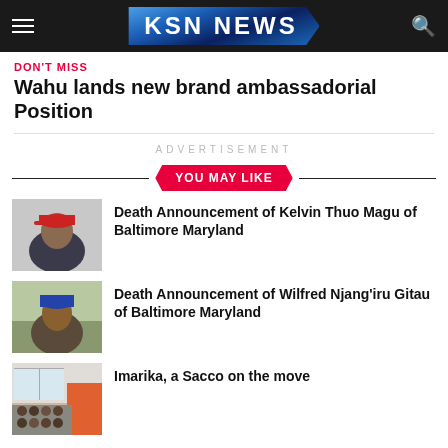KSN NEWS
DON'T MISS
Wahu lands new brand ambassadorial Position
ADVERTISEMENT
YOU MAY LIKE
[Figure (photo): Young man wearing red cap]
Death Announcement of Kelvin Thuo Magu of Baltimore Maryland
[Figure (photo): Man with blue cap outdoors]
Death Announcement of Wilfred Njang'iru Gitau of Baltimore Maryland
[Figure (photo): People seated in a meeting room]
Imarika, a Sacco on the move